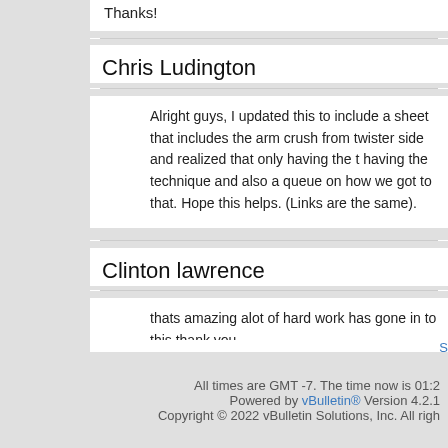Thanks!
Chris Ludington
Alright guys, I updated this to include a sheet that includes the arm crush from twister side and realized that only having the having the technique and also a queue on how we got to that. Hope this helps. (Links are the same).
Clinton lawrence
thats amazing alot of hard work has gone in to this thank you
Page 4 of 28  First  ...  2  3  4  5  6  14  ...  Last
All times are GMT -7. The time now is 01:2
Powered by vBulletin® Version 4.2.1
Copyright © 2022 vBulletin Solutions, Inc. All righ